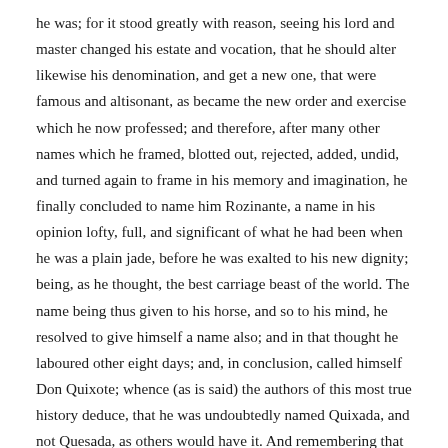he was; for it stood greatly with reason, seeing his lord and master changed his estate and vocation, that he should alter likewise his denomination, and get a new one, that were famous and altisonant, as became the new order and exercise which he now professed; and therefore, after many other names which he framed, blotted out, rejected, added, undid, and turned again to frame in his memory and imagination, he finally concluded to name him Rozinante, a name in his opinion lofty, full, and significant of what he had been when he was a plain jade, before he was exalted to his new dignity; being, as he thought, the best carriage beast of the world. The name being thus given to his horse, and so to his mind, he resolved to give himself a name also; and in that thought he laboured other eight days; and, in conclusion, called himself Don Quixote; whence (as is said) the authors of this most true history deduce, that he was undoubtedly named Quixada, and not Quesada, as others would have it. And remembering that the valorous Amadis was not satisfied only with the